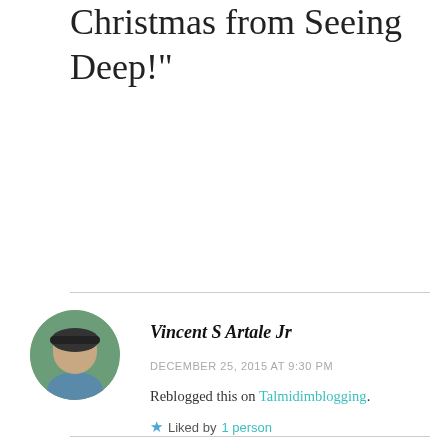Christmas from Seeing Deep!"
Vincent S Artale Jr
DECEMBER 25, 2015 AT 9:30 PM
Reblogged this on Talmidimblogging.
Liked by 1 person
REPLY